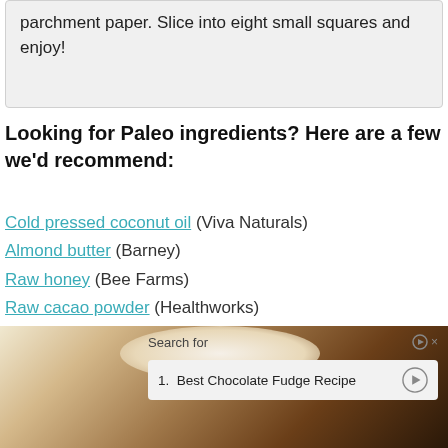parchment paper. Slice into eight small squares and enjoy!
Looking for Paleo ingredients? Here are a few we'd recommend:
Cold pressed coconut oil (Viva Naturals)
Almond butter (Barney)
Raw honey (Bee Farms)
Raw cacao powder (Healthworks)
Grass-Fed Collagen (Bright Naturals)
[Figure (photo): Photo of chocolate fudge squares with an ad overlay showing 'Search for' and '1. Best Chocolate Fudge Recipe']